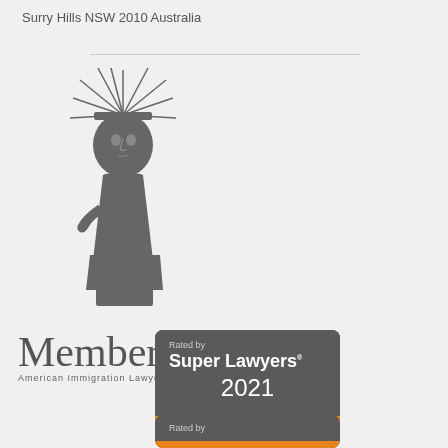Surry Hills NSW 2010 Australia
[Figure (logo): American Immigration Lawyers Association (AILA) Member logo featuring the Statue of Liberty silhouette with text 'Member' and 'American Immigration Lawyers Association']
[Figure (logo): Super Lawyers 2021 badge with orange footer saying 'visit SuperLawyers.com']
[Figure (logo): Second Super Lawyers badge, partially visible, showing 'Rated by' text]